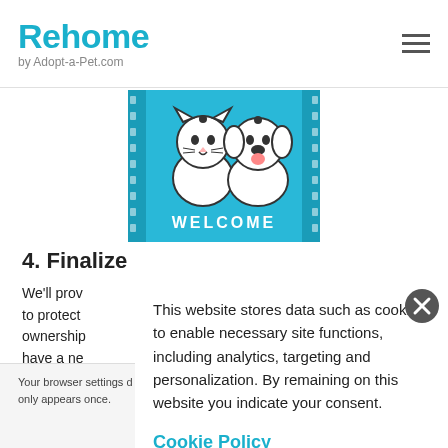Rehome by Adopt-a-Pet.com
[Figure (illustration): Welcome mat illustration with cartoon cat and dog on a blue background with the word WELCOME]
4. Finalize
We'll prov... to protect... ownership... have a ne...
This website stores data such as cookies to enable necessary site functions, including analytics, targeting and personalization. By remaining on this website you indicate your consent.
Cookie Policy
Your browser settings d... AdRoll to use cross-site... by clicking here. This message only appears once.